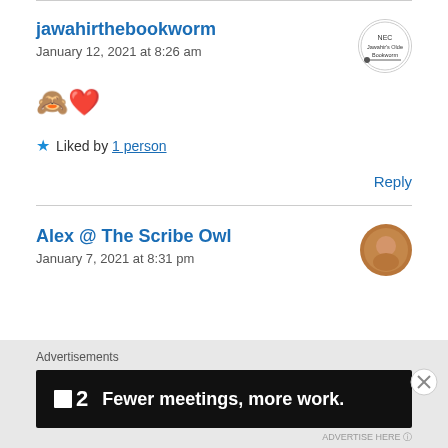jawahirthebookworm
January 12, 2021 at 8:26 am
🙈❤️
★ Liked by 1 person
Reply
Alex @ The Scribe Owl
January 7, 2021 at 8:31 pm
Advertisements
[Figure (screenshot): Advertisement banner: dark background with a square logo, number 2, and text 'Fewer meetings, more work.']